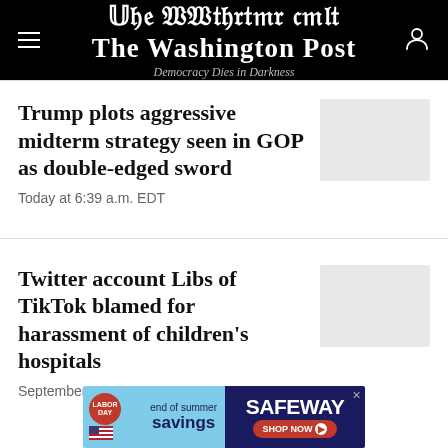The Washington Post — Democracy Dies in Darkness
Trump plots aggressive midterm strategy seen in GOP as double-edged sword
Today at 6:39 a.m. EDT
Twitter account Libs of TikTok blamed for harassment of children's hospitals
September 1, 2022
[Figure (screenshot): Safeway Labor Day end of summer savings advertisement banner]